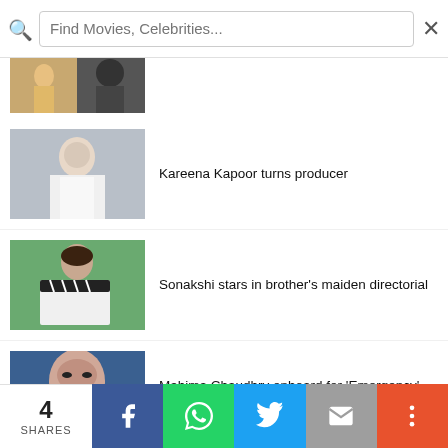Find Movies, Celebrities...
[Figure (photo): Partial thumbnail of two people, one in yellow/gold outfit]
Kareena Kapoor turns producer
[Figure (photo): Kareena Kapoor in white outfit against grey background]
Sonakshi stars in brother's maiden directorial
[Figure (photo): Sonakshi holding a clapperboard against green background]
Mahima Chaudhry onboard for 'Emergency'
[Figure (photo): Mahima Chaudhry close-up portrait with blue tone]
4 SHARES — Facebook, WhatsApp, Twitter, Email, More